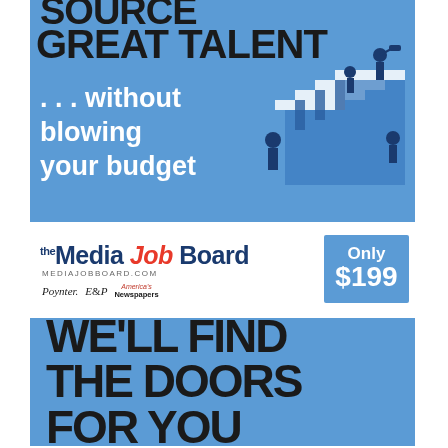[Figure (illustration): Advertisement for The Media Job Board. Top blue banner reads 'SOURCE GREAT TALENT ... without blowing your budget' with an illustration of business people on stairs. Below: The Media Job Board logo, MEDIAJOBBOARD.COM, partner logos (Poynter, E&P, America's Newspapers), and 'Only $199' blue box.]
[Figure (illustration): Blue advertisement banner reading 'WE'LL FIND THE DOORS FOR YOU' in large bold black text.]